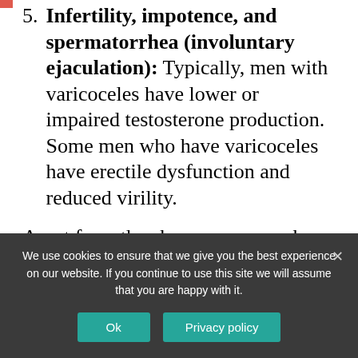5. Infertility, impotence, and spermatorrhea (involuntary ejaculation): Typically, men with varicoceles have lower or impaired testosterone production. Some men who have varicoceles have erectile dysfunction and reduced virility.
Apart from the above, men may have testicular atrophy.
Another symptom of varicocele is testicular atrophy or shrinkage.
We use cookies to ensure that we give you the best experience on our website. If you continue to use this site we will assume that you are happy with it.